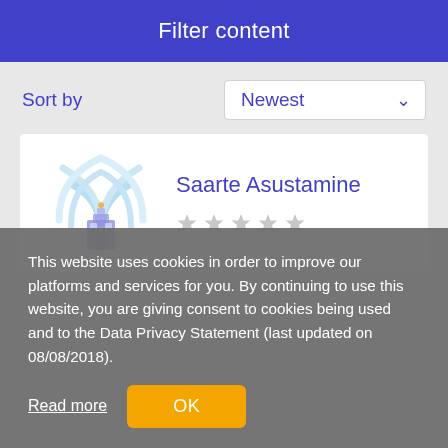Filter content
Sort by
Newest
Saarte Asustamine
[Figure (illustration): App icon with wifi/signal arcs and a building silhouette in light blue and purple tones]
This website uses cookies in order to improve our platforms and services for you. By continuing to use this website, you are giving consent to cookies being used and to the Data Privacy Statement (last updated on 08/08/2018).
Read more
OK